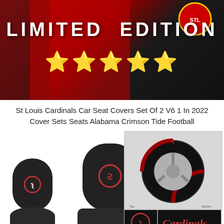[Figure (photo): Product banner image showing St Louis Cardinals car accessories with red leather seat background, text 'LIMITED EDITION' and five gold stars]
St Louis Cardinals Car Seat Covers Set Of 2 V6 1 In 2022 Cover Sets Seats Alabama Crimson Tide Football
[Figure (photo): Product photo showing two black St Louis Cardinals car seat covers with embroidered logo, a Cardinals steering wheel cover, and a bottom panel strip showing the Cardinals logo and Cardinals script text]